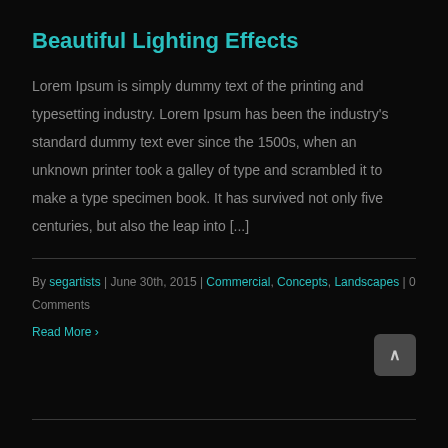Beautiful Lighting Effects
Lorem Ipsum is simply dummy text of the printing and typesetting industry. Lorem Ipsum has been the industry's standard dummy text ever since the 1500s, when an unknown printer took a galley of type and scrambled it to make a type specimen book. It has survived not only five centuries, but also the leap into [...]
By segartists | June 30th, 2015 | Commercial, Concepts, Landscapes | 0 Comments
Read More >